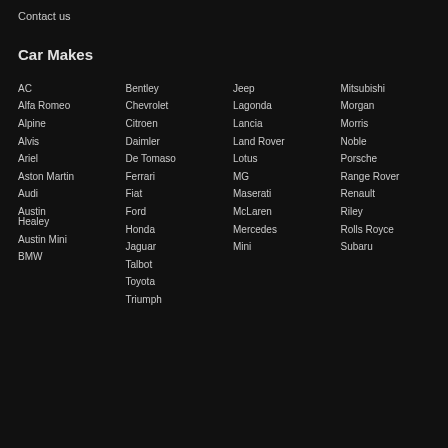Contact us
Car Makes
AC
Alfa Romeo
Alpine
Alvis
Ariel
Aston Martin
Audi
Austin Healey
Austin Mini
BMW
Bentley
Chevrolet
Citroen
Daimler
De Tomaso
Ferrari
Fiat
Ford
Honda
Jaguar
Talbot
Toyota
Triumph
Jeep
Lagonda
Lancia
Land Rover
Lotus
MG
Maserati
McLaren
Mercedes
Mini
Mitsubishi
Morgan
Morris
Noble
Porsche
Range Rover
Renault
Riley
Rolls Royce
Subaru